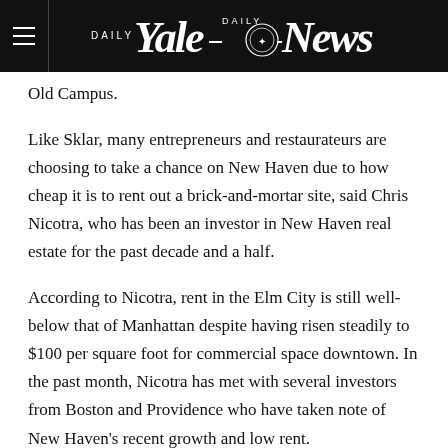Yale Daily News
Old Campus.
Like Sklar, many entrepreneurs and restaurateurs are choosing to take a chance on New Haven due to how cheap it is to rent out a brick-and-mortar site, said Chris Nicotra, who has been an investor in New Haven real estate for the past decade and a half.
According to Nicotra, rent in the Elm City is still well-below that of Manhattan despite having risen steadily to $100 per square foot for commercial space downtown. In the past month, Nicotra has met with several investors from Boston and Providence who have taken note of New Haven’s recent growth and low rent.
“[Entrepreneurs, restaurateurs and developers] see this young